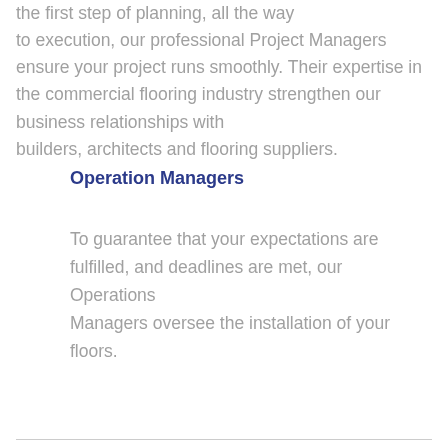the first step of planning, all the way to execution, our professional Project Managers ensure your project runs smoothly. Their expertise in the commercial flooring industry strengthen our business relationships with builders, architects and flooring suppliers.
Operation Managers
To guarantee that your expectations are fulfilled, and deadlines are met, our Operations Managers oversee the installation of your floors.